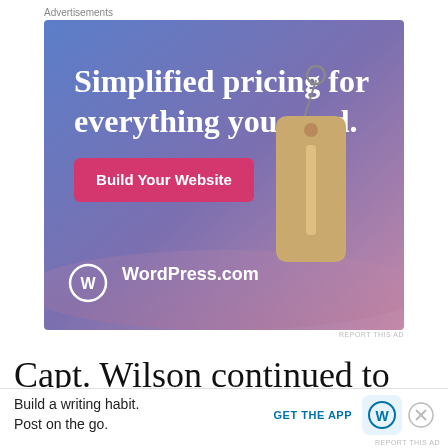Advertisements
[Figure (infographic): WordPress.com advertisement banner with blue-purple gradient background. Large white text reads 'Simplified pricing for everything you need.' A pink/magenta button says 'Build Your Website'. A hanging price tag graphic is on the right. WordPress.com logo and name at bottom left.]
REPORT THIS AD
Capt. Wilson continued to document the situation. “Fifteen hundred of
Advertisements
[Figure (infographic): WordPress.com mobile app advertisement. Text: 'Build a writing habit. Post on the go.' Link: 'GET THE APP' with WordPress logo icon on right side.]
REPORT THIS AD